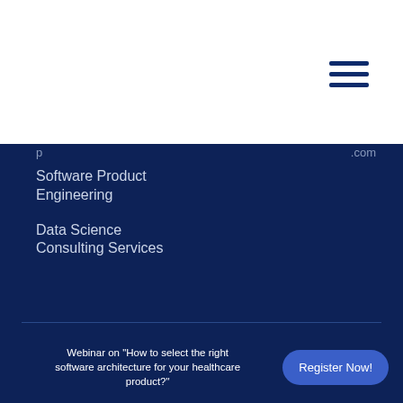[Figure (other): Hamburger menu icon with three horizontal dark blue lines]
Software Product Engineering
Data Science Consulting Services
Webinar on "How to select the right software architecture for your healthcare product?"
Register Now!